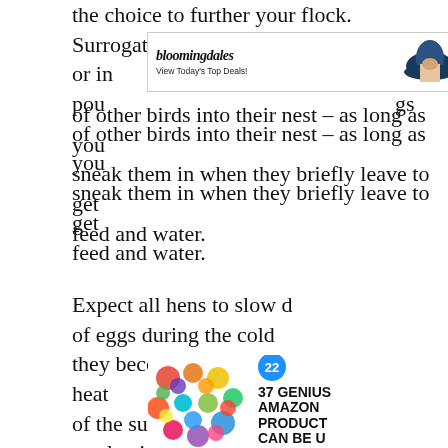the choice to further your flock. Surrogate or incubate... pounce on eggs of other birds into their nest – as long as you sneak them in when they briefly leave to get feed and water.
[Figure (other): Bloomingdales advertisement banner: logo with italic text 'bloomingdales', tagline 'View Today's Top Deals!', image of woman with large hat, 'SHOP NOW >' button]
[Figure (other): Amazon product advertisement: colorful scrunchies image, badge '22', headline '37 GENIUS AMAZON PRODUCTS CAN BE USED ANYO[where]']
[Figure (other): Oral-B Vitality advertisement with close button X]
[Figure (other): Black video loading overlay with white circular spinner/loading ring and close button]
Expect all hens to slow down production of eggs during the cold months and if they become too overheated during the heat of the summer. Hens also decrease egg production if their living area, waterer, or feeder becomes dirty, and when they are sick or injured. When hens are not eating